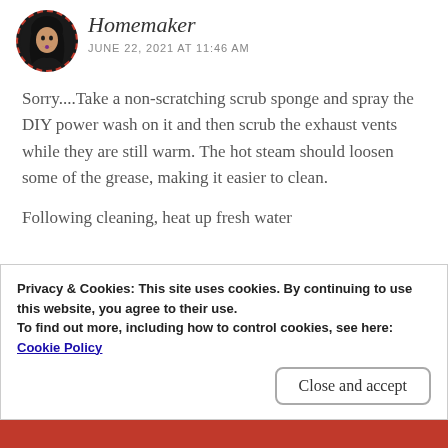[Figure (illustration): Circular avatar image with dashed red border showing a cartoon woman with dark hair against dark background]
Homemaker
JUNE 22, 2021 AT 11:46 AM
Sorry....Take a non-scratching scrub sponge and spray the DIY power wash on it and then scrub the exhaust vents while they are still warm. The hot steam should loosen some of the grease, making it easier to clean.
Following cleaning, heat up fresh water
Privacy & Cookies: This site uses cookies. By continuing to use this website, you agree to their use.
To find out more, including how to control cookies, see here:
Cookie Policy
Close and accept